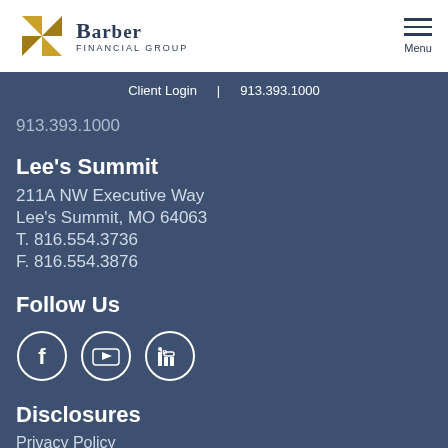[Figure (logo): Barber Financial Group logo with pinwheel icon and text]
Client Login | 913.393.1000
913.393.1000
Lee's Summit
211A NW Executive Way
Lee's Summit, MO 64063
T. 816.554.3736
F. 816.554.3876
Follow Us
[Figure (other): Social media icons: Facebook, YouTube, LinkedIn]
Disclosures
Privacy Policy